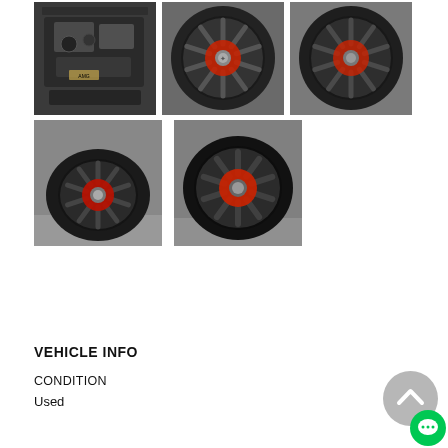[Figure (photo): Grid of 5 car photos: top-left shows Mercedes-AMG engine bay, remaining 4 show black AMG multi-spoke wheels with red brake calipers from various angles]
VEHICLE INFO
CONDITION
Used